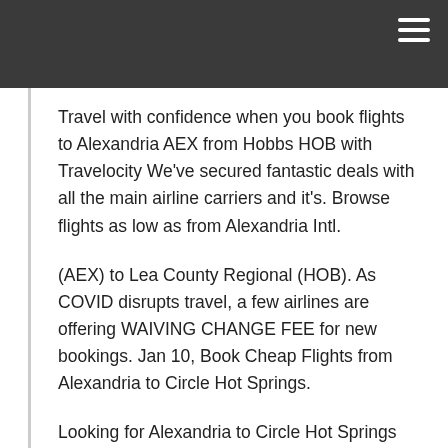Travel with confidence when you book flights to Alexandria AEX from Hobbs HOB with Travelocity We've secured fantastic deals with all the main airline carriers and it's. Browse flights as low as from Alexandria Intl.
(AEX) to Lea County Regional (HOB). As COVID disrupts travel, a few airlines are offering WAIVING CHANGE FEE for new bookings. Jan 10, Book Cheap Flights from Alexandria to Circle Hot Springs.
Looking for Alexandria to Circle Hot Springs flights? Book your air tickets with us and, at CheapOair you can also choose from an extensive list of airlines flying on the route. Book one-way United flights from Flagstaff FLG to Hobbs HOB A one-way ticket gives you much greater flexibility- allowing you to